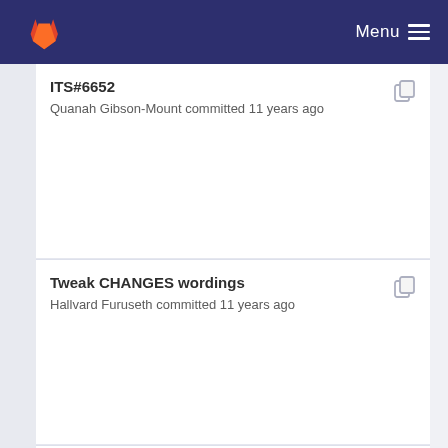Menu
ITS#6652
Quanah Gibson-Mount committed 11 years ago
Tweak CHANGES wordings
Hallvard Furuseth committed 11 years ago
ITS#6752